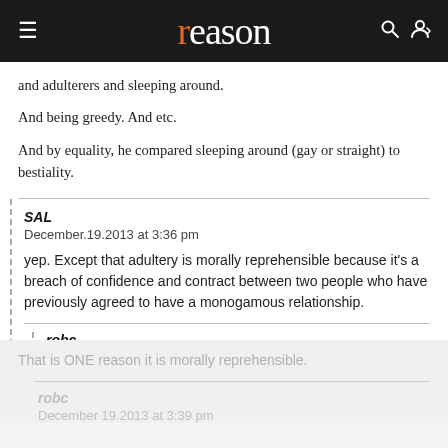reason
and adulterers and sleeping around.
And being greedy. And etc.
And by equality, he compared sleeping around (gay or straight) to bestiality.
SAL
December.19.2013 at 3:36 pm

yep. Except that adultery is morally reprehensible because it's a breach of confidence and contract between two people who have previously agreed to have a monogamous relationship.
robc
December.19.2013 at 3:38 pm
That is ONE reason it is morally reprehensible.
robc
December 19.2013 at 3:39 pm